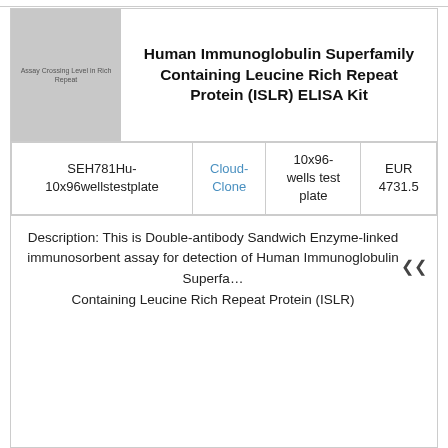[Figure (photo): Product image placeholder showing grey box with text 'Assay Crossing Level in Rich Repeat']
Human Immunoglobulin Superfamily Containing Leucine Rich Repeat Protein (ISLR) ELISA Kit
|  |  |  |  |
| --- | --- | --- | --- |
| SEH781Hu-10x96wellstestplate | Cloud-Clone | 10x96-wells test plate | EUR 4731.5 |
Description: This is Double-antibody Sandwich Enzyme-linked immunosorbent assay for detection of Human Immunoglobulin Superfamily Containing Leucine Rich Repeat Protein (ISLR)